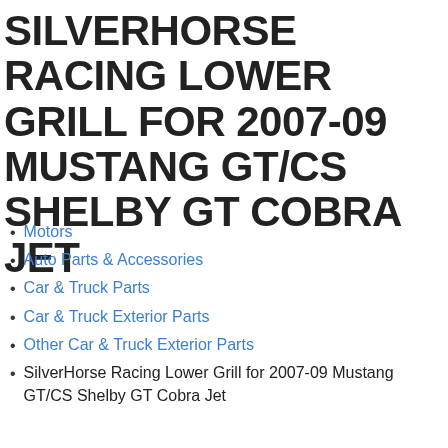SILVERHORSE RACING LOWER GRILL FOR 2007-09 MUSTANG GT/CS SHELBY GT COBRA JET
Motors
Auto Parts & Accessories
Car & Truck Parts
Car & Truck Exterior Parts
Other Car & Truck Exterior Parts
SilverHorse Racing Lower Grill for 2007-09 Mustang GT/CS Shelby GT Cobra Jet